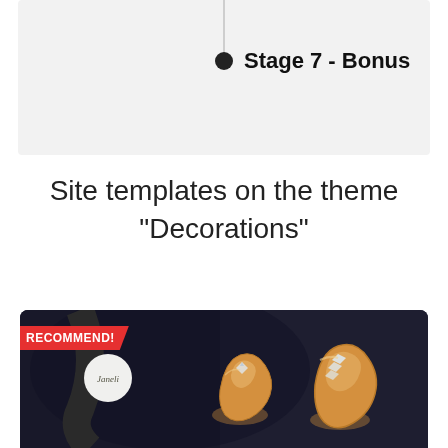[Figure (other): Timeline diagram showing Stage 7 - Bonus node with vertical line and dot]
Site templates on the theme "Decorations"
[Figure (photo): Jewelry store website template preview showing gold rings with diamonds on dark background, with a RECOMMEND! badge and Janeli logo]